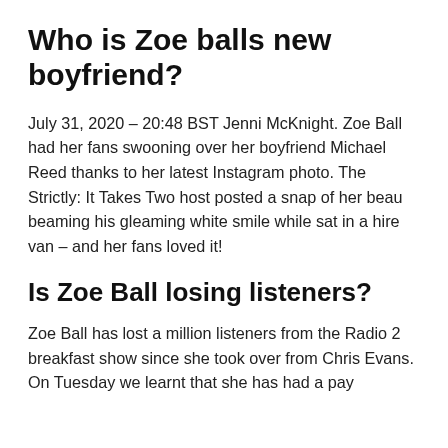Who is Zoe balls new boyfriend?
July 31, 2020 – 20:48 BST Jenni McKnight. Zoe Ball had her fans swooning over her boyfriend Michael Reed thanks to her latest Instagram photo. The Strictly: It Takes Two host posted a snap of her beau beaming his gleaming white smile while sat in a hire van – and her fans loved it!
Is Zoe Ball losing listeners?
Zoe Ball has lost a million listeners from the Radio 2 breakfast show since she took over from Chris Evans. On Tuesday we learnt that she has had a pay